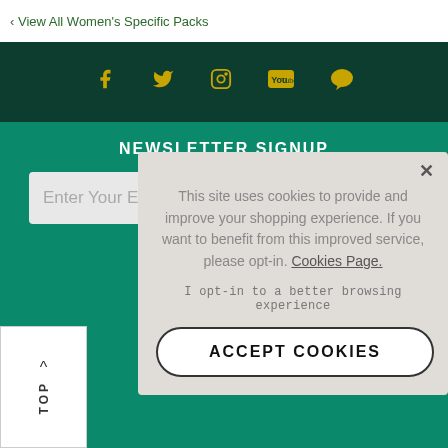‹ View All Women's Specific Packs
[Figure (screenshot): Social media icons row: Facebook, Twitter, Instagram, YouTube, Chat — all in gold/yellow on dark green background]
NEWSLETTER SIGNUP
Enter Your Email...
To see how we...
[Figure (screenshot): Cookie consent popup overlay: 'This site uses cookies to provide and improve your shopping experience. If you want to benefit from this improved service, please opt-in. Cookies Page. | I opt-in to a better browsing experience | ACCEPT COOKIES button']
TOP